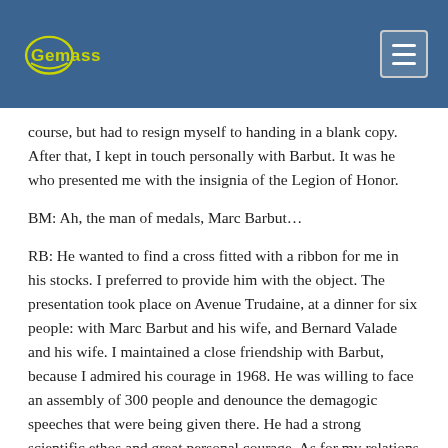Gemass
course, but had to resign myself to handing in a blank copy. After that, I kept in touch personally with Barbut. It was he who presented me with the insignia of the Legion of Honor.
BM: Ah, the man of medals, Marc Barbut…
RB: He wanted to find a cross fitted with a ribbon for me in his stocks. I preferred to provide him with the object. The presentation took place on Avenue Trudaine, at a dinner for six people: with Marc Barbut and his wife, and Bernard Valade and his wife. I maintained a close friendship with Barbut, because I admired his courage in 1968. He was willing to face an assembly of 300 people and denounce the demagogic speeches that were being given there. He had a strong scientific ethos and great personal courage. As for my relations with CAMS, I hardly had any, because as I told you the last time, my thesis had led me to the conclusion that mathematics has limited relevance in sociology. I think, for example, that game theory can be of